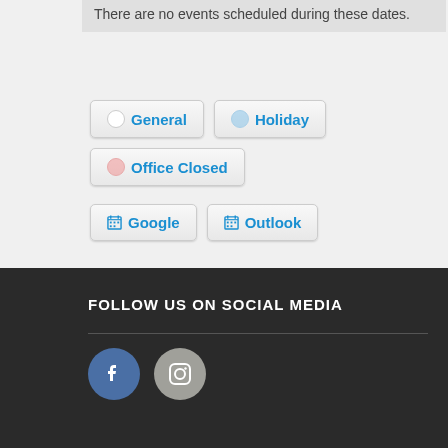There are no events scheduled during these dates.
[Figure (screenshot): Calendar category filter buttons: General (white dot), Holiday (blue dot), Office Closed (pink dot)]
[Figure (screenshot): Calendar export buttons: Google (calendar icon) and Outlook (calendar icon)]
FOLLOW US ON SOCIAL MEDIA
[Figure (infographic): Social media icon buttons: Facebook (blue circle with f) and Instagram (gray circle with camera icon)]